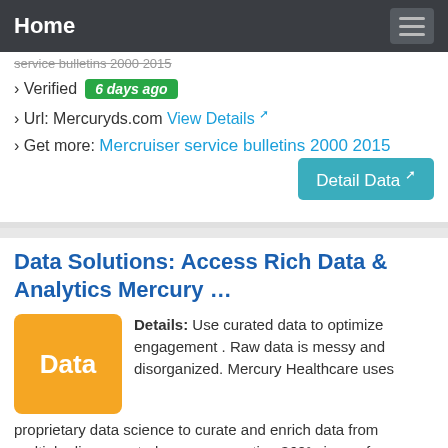Home
service bulletins 2000 2015 (strikethrough)
› Verified  6 days ago
› Url: Mercuryds.com  View Details ↗
› Get more: Mercruiser service bulletins 2000 2015
Detail Data ↗
Data Solutions: Access Rich Data & Analytics Mercury …
Details: Use curated data to optimize engagement . Raw data is messy and disorganized. Mercury Healthcare uses proprietary data science to curate and enrich data from multiple disconnected sources, creating 360° views of